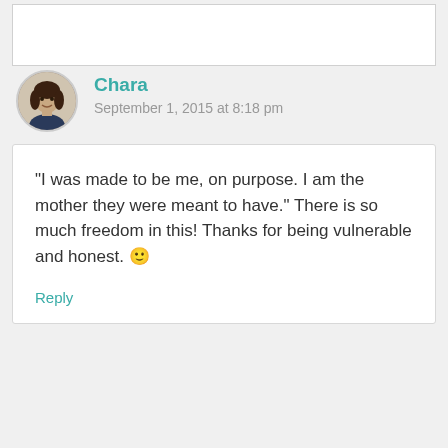[Figure (photo): Circular avatar photo of a woman with dark hair, wearing a dark jacket, against a light background]
Chara
September 1, 2015 at 8:18 pm
“I was made to be me, on purpose. I am the mother they were meant to have.” There is so much freedom in this! Thanks for being vulnerable and honest. 🙂
Reply